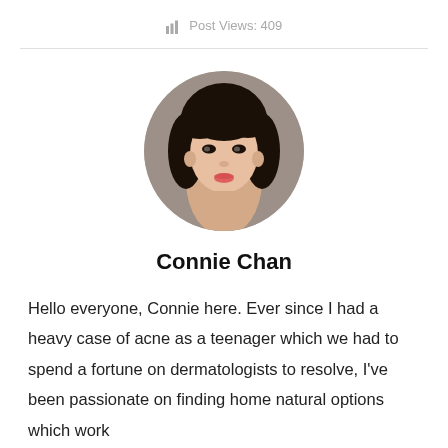Post Views: 409
[Figure (photo): Circular profile photo of a young Asian woman with dark hair, looking slightly to the side, with a neutral expression.]
Connie Chan
Hello everyone, Connie here. Ever since I had a heavy case of acne as a teenager which we had to spend a fortune on dermatologists to resolve, I've been passionate on finding home natural options which work